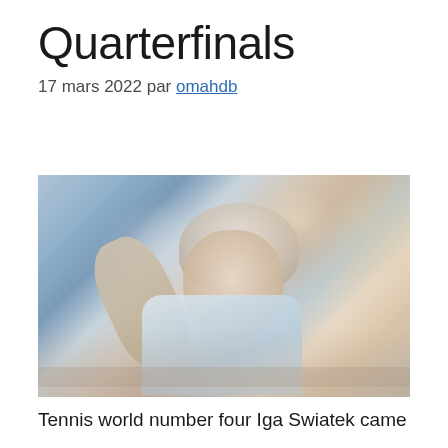Quarterfinals
17 mars 2022 par omahdb
[Figure (photo): Tennis player Iga Swiatek celebrating with fist raised and mouth open, wearing white cap and white/yellow patterned tennis outfit with PZU logo and Asics logo, blurred crowd background]
Tennis world number four Iga Swiatek came